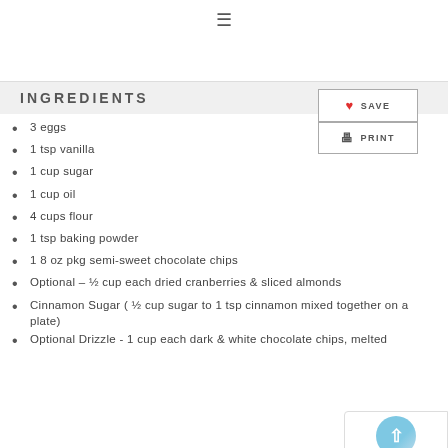≡
INGREDIENTS
3 eggs
1 tsp vanilla
1 cup sugar
1 cup oil
4 cups flour
1 tsp baking powder
1 8 oz pkg semi-sweet chocolate chips
Optional – ½ cup each dried cranberries & sliced almonds
Cinnamon Sugar ( ½ cup sugar to 1 tsp cinnamon mixed together on a plate)
Optional Drizzle - 1 cup each dark & white chocolate chips, melted
INSTRUCTIONS